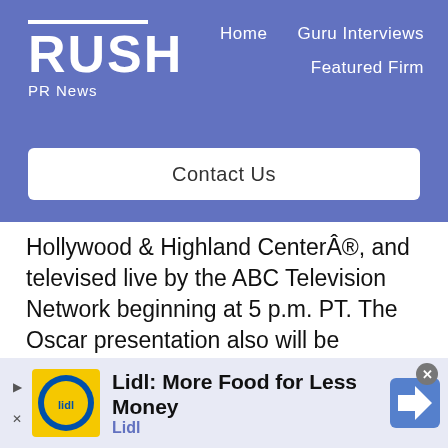RUSH PR News — Home | Guru Interviews | Featured Firm
Hollywood & Highland Center®, and televised live by the ABC Television Network beginning at 5 p.m. PT. The Oscar presentation also will be televised live in more than 200 countries worldwide.
# # #
Â©AMPASÂ®
[Figure (advertisement): Lidl advertisement banner: 'Lidl: More Food for Less Money' with Lidl logo and yellow brand color, navigation arrow icon on the right.]